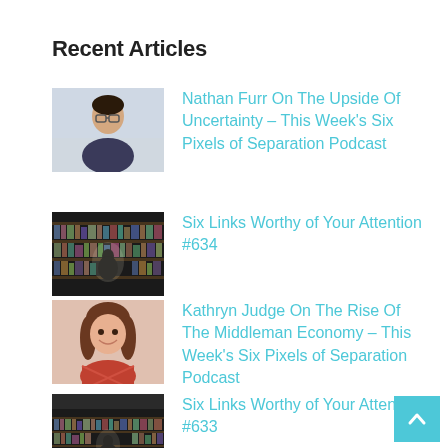Recent Articles
Nathan Furr On The Upside Of Uncertainty – This Week's Six Pixels of Separation Podcast
Six Links Worthy of Your Attention #634
Kathryn Judge On The Rise Of The Middleman Economy – This Week's Six Pixels of Separation Podcast
Six Links Worthy of Your Attention #633